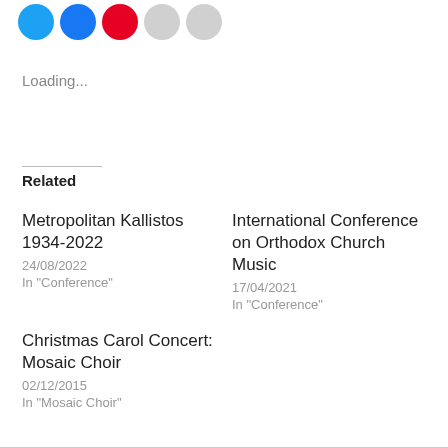[Figure (other): Social sharing icon buttons: Twitter (blue), Facebook (blue), Pinterest (red), Email (grey), Print (grey)]
Loading...
Related
Metropolitan Kallistos 1934-2022
24/08/2022
In "Conference"
International Conference on Orthodox Church Music
17/04/2021
In "Conference"
Christmas Carol Concert: Mosaic Choir
02/12/2015
In "Mosaic Choir"